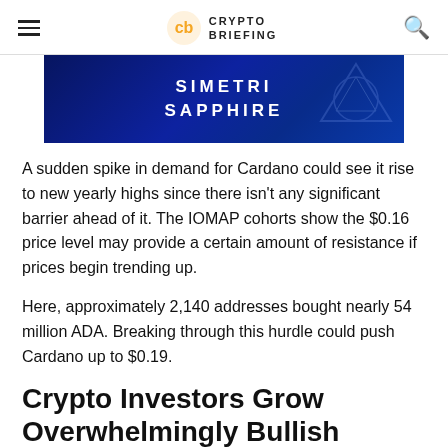CRYPTO BRIEFING
[Figure (illustration): SIMETRI SAPPHIRE advertisement banner with blue gradient background and geometric decoration]
A sudden spike in demand for Cardano could see it rise to new yearly highs since there isn't any significant barrier ahead of it. The IOMAP cohorts show the $0.16 price level may provide a certain amount of resistance if prices begin trending up.
Here, approximately 2,140 addresses bought nearly 54 million ADA. Breaking through this hurdle could push Cardano up to $0.19.
Crypto Investors Grow Overwhelmingly Bullish